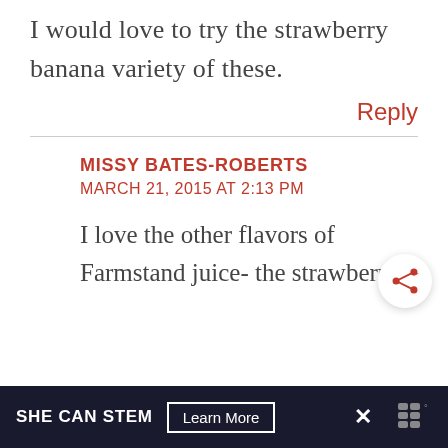I would love to try the strawberry banana variety of these.
Reply
MISSY BATES-ROBERTS
MARCH 21, 2015 AT 2:13 PM
I love the other flavors of Farmstand juice- the strawberry
SHE CAN STEM  Learn More